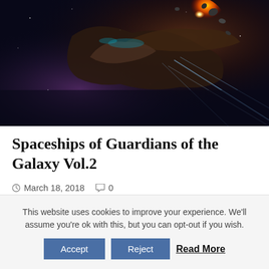[Figure (photo): Dark space scene from Guardians of the Galaxy Vol. 2 showing a spaceship with an explosion of fire and debris against a dark cosmic background with nebula colors.]
Spaceships of Guardians of the Galaxy Vol.2
March 18, 2018   0
Like its predecessor Guardians of the Galaxy Volume 2 was a stunning movie, an
This website uses cookies to improve your experience. We'll assume you're ok with this, but you can opt-out if you wish. Accept Reject Read More